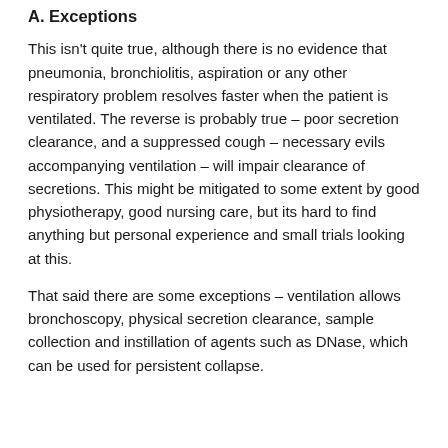A. Exceptions
This isn't quite true, although there is no evidence that pneumonia, bronchiolitis, aspiration or any other respiratory problem resolves faster when the patient is ventilated. The reverse is probably true – poor secretion clearance, and a suppressed cough – necessary evils accompanying ventilation – will impair clearance of secretions. This might be mitigated to some extent by good physiotherapy, good nursing care, but its hard to find anything but personal experience and small trials looking at this.
That said there are some exceptions – ventilation allows bronchoscopy, physical secretion clearance, sample collection and instillation of agents such as DNase, which can be used for persistent collapse.